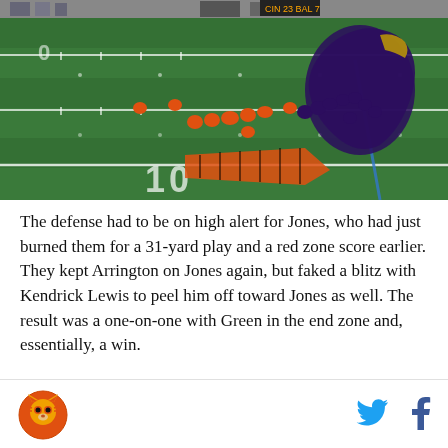[Figure (photo): Aerial view of an NFL football game on a green field. Cincinnati Bengals players in orange uniforms on offense, Baltimore Ravens defenders in purple/black. The Ravens end zone logo is visible in the upper right. Yard lines and the number 10 are visible on the field.]
The defense had to be on high alert for Jones, who had just burned them for a 31-yard play and a red zone score earlier. They kept Arrington on Jones again, but faked a blitz with Kendrick Lewis to peel him off toward Jones as well. The result was a one-on-one with Green in the end zone and, essentially, a win.
[Figure (logo): Circular logo with orange background, tiger face graphic, website footer branding]
[Figure (logo): Twitter bird icon and Facebook f icon for social sharing]